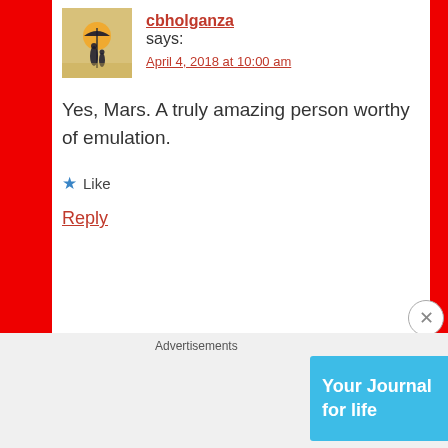cbholganza says:
April 4, 2018 at 10:00 am
Yes, Mars. A truly amazing person worthy of emulation.
★ Like
Reply
Keith Martin C. Quimno says:
April 4, 2018 at 9:51 am
Advertisements
[Figure (infographic): Day One app advertisement banner: 'Your Journal for life' with Day One logo on cyan/blue background]